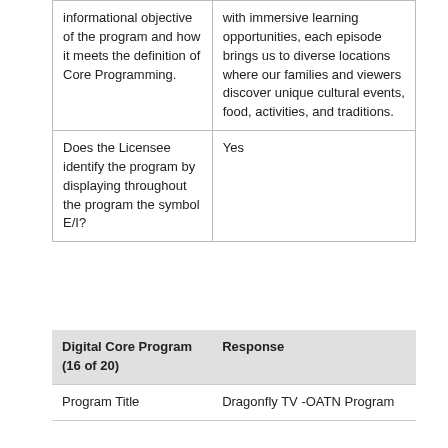| informational objective of the program and how it meets the definition of Core Programming. | with immersive learning opportunities, each episode brings us to diverse locations where our families and viewers discover unique cultural events, food, activities, and traditions. |
| Does the Licensee identify the program by displaying throughout the program the symbol E/I? | Yes |
| Digital Core Program (16 of 20) | Response |
| --- | --- |
| Program Title | Dragonfly TV -OATN Program |